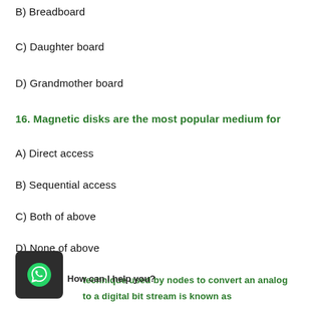B) Breadboard
C) Daughter board
D) Grandmother board
16. Magnetic disks are the most popular medium for
A) Direct access
B) Sequential access
C) Both of above
D) None of above
17. The technique used by nodes to convert an analog to a digital bit stream is known as